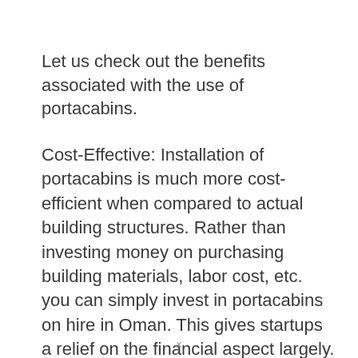Let us check out the benefits associated with the use of portacabins.
Cost-Effective: Installation of portacabins is much more cost-efficient when compared to actual building structures. Rather than investing money on purchasing building materials, labor cost, etc. you can simply invest in portacabins on hire in Oman. This gives startups a relief on the financial aspect largely.